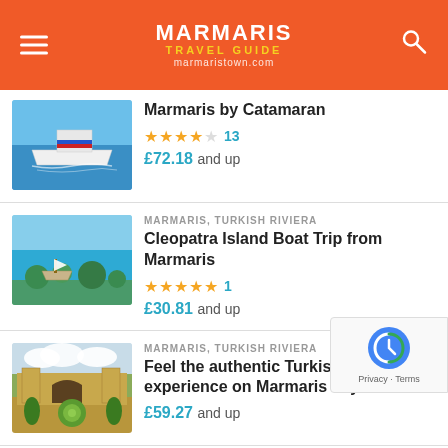MARMARIS TRAVEL GUIDE marmaristown.com
[Figure (photo): Catamaran/ferry boat on blue water]
Marmaris by Catamaran
4.5 stars, 13 reviews
£72.18 and up
MARMARIS, TURKISH RIVIERA
[Figure (photo): Cleopatra Island with boats in turquoise water, green trees]
Cleopatra Island Boat Trip from Marmaris
5 stars, 1 review
£30.81 and up
MARMARIS, TURKISH RIVIERA
[Figure (photo): Historic castle/ruins with garden in Marmaris]
Feel the authentic Turkish cultural experience on Marmaris city tour
£59.27 and up
MARMARIS, TURKISH RIVIERA